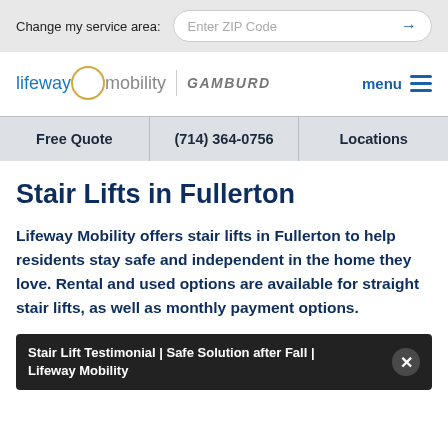Change my service area: [Enter ZIP Code] →
[Figure (logo): Lifeway Mobility | GAMBURD logo with menu button]
| Free Quote | (714) 364-0756 | Locations |
| --- | --- | --- |
Stair Lifts in Fullerton
Lifeway Mobility offers stair lifts in Fullerton to help residents stay safe and independent in the home they love. Rental and used options are available for straight stair lifts, as well as monthly payment options.
Stair Lift Testimonial | Safe Solution after Fall | Lifeway Mobility